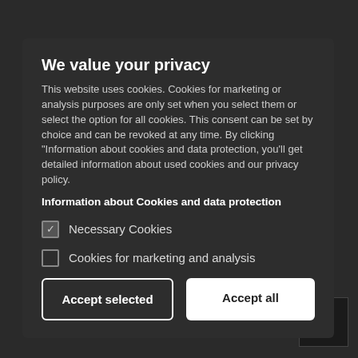We value your privacy
This website uses cookies. Cookies for marketing or analysis purposes are only set when you select them or select the option for all cookies. This consent can be set by choice and can be revoked at any time. By clicking “Information about cookies and data protection, you’ll get detailed information about used cookies and our privacy policy.
Information about Cookies and data protection
Necessary Cookies
Cookies for marketing and analysis
Accept selected
Accept all